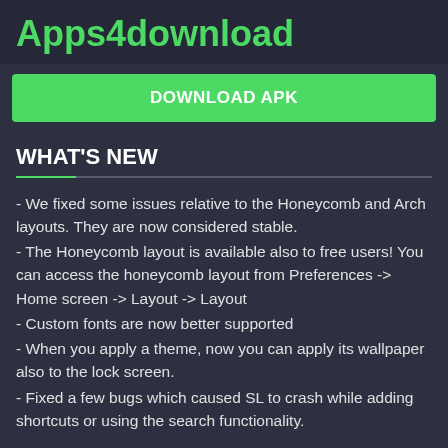Apps4download
DOWNLOAD APK
WHAT'S NEW
- We fixed some issues relative to the Honeycomb and Arch layouts. They are now considered stable.
- The Honeycomb layout is available also to free users! You can access the honeycomb layout from Preferences -> Home screen -> Layout -> Layout
- Custom fonts are now better supported
- When you apply a theme, now you can apply its wallpaper also to the lock screen.
- Fixed a few bugs which caused SL to crash while adding shortcuts or using the search functionality.